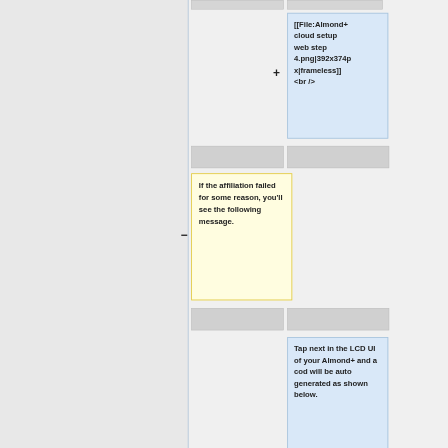[[File:Almond+ cloud setup web step 4.png|392x374px|frameless]]
<br />
If the affiliation failed for some reason, you'll see the following message.
Tap next in the LCD UI of your Almond+ and a cod will be auto generated as shown below.